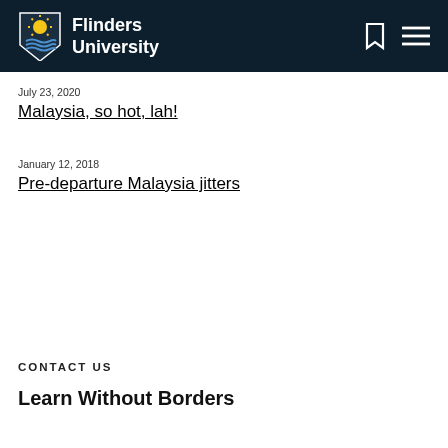Flinders University
July 23, 2020
Malaysia, so hot, lah!
January 12, 2018
Pre-departure Malaysia jitters
CONTACT US
Learn Without Borders